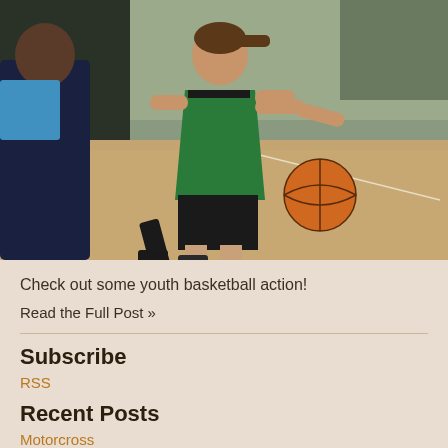[Figure (photo): Youth basketball game showing a girl in green vest dribbling a basketball on an indoor court, with other players around her]
Check out some youth basketball action!
Read the Full Post »
Subscribe
RSS
Recent Posts
Motorcross
National Popcorn Day